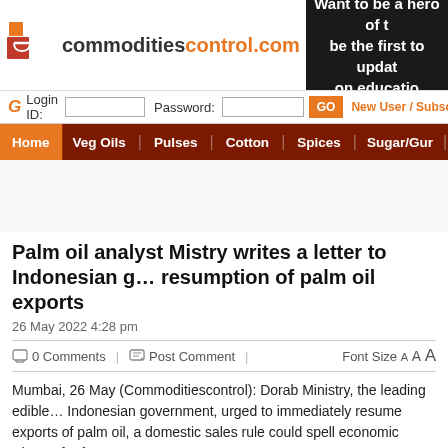[Figure (logo): commoditiescontrol.com logo with scales icon]
[Figure (infographic): Dark banner ad: Want to be a hero of t... be the first to updat... on educatio...]
Login ID: [input] Password: [input] GO New User / Subscri...
Home | Veg Oils | Pulses | Cotton | Spices | Sugar/Gur | Plantation
Palm oil analyst Mistry writes a letter to Indonesian g... resumption of palm oil exports
26 May 2022 4:28 pm
0 Comments | Post Comment | Font Size A A A
Mumbai, 26 May (Commoditiescontrol): Dorab Ministry, the leading edible... Indonesian government, urged to immediately resume exports of palm oil, a domestic sales rule could spell economic "doom" for farmers.